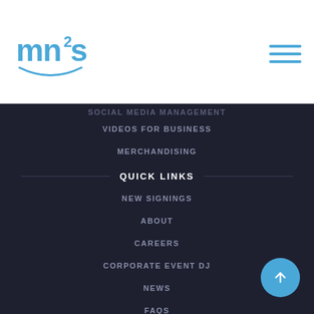[Figure (logo): mn2s logo in blue with superscript 2]
[Figure (other): Hamburger menu icon with three blue horizontal lines]
SOCIAL MEDIA MANAGEMENT
VIDEOS FOR BUSINESS
MERCHANDISING
QUICK LINKS
NEW SIGNINGS
ABOUT
CAREERS
CORPORATE EVENT DJ
NEWS
FAQS
LEGALS